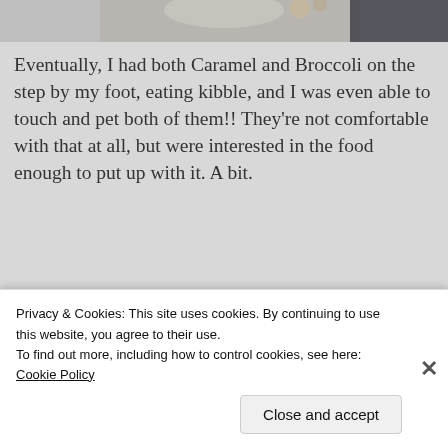[Figure (photo): Partial photo at top of page showing animals/food on a step, mostly cropped]
Eventually, I had both Caramel and Broccoli on the step by my foot, eating kibble, and I was even able to touch and pet both of them!! They're not comfortable with that at all, but were interested in the food enough to put up with it. A bit.
[Figure (other): Advertisement banner with yellow background: 'Share, Discuss, Collaborate, P2.' Powered by WordPress logo]
Gosh, they are cute. I just wish Butterscotch wasn't
Privacy & Cookies: This site uses cookies. By continuing to use this website, you agree to their use.
To find out more, including how to control cookies, see here: Cookie Policy
Close and accept